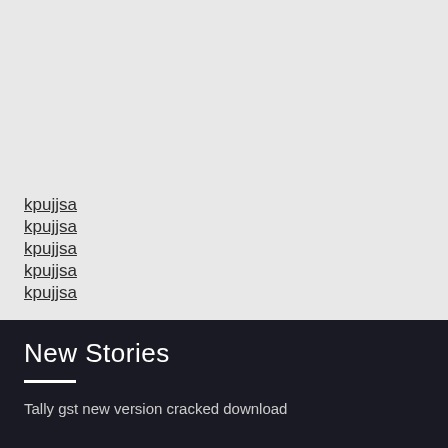kpujjsa
kpujjsa
kpujjsa
kpujjsa
kpujjsa
New Stories
Tally gst new version cracked download